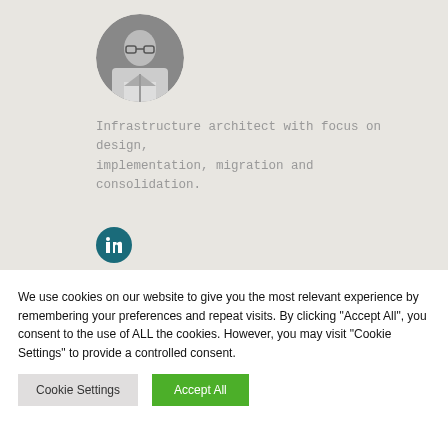[Figure (photo): Circular profile photo of a man wearing glasses, black and white]
Infrastructure architect with focus on design, implementation, migration and consolidation.
View profile
[Figure (logo): LinkedIn icon circle in teal]
We use cookies on our website to give you the most relevant experience by remembering your preferences and repeat visits. By clicking “Accept All”, you consent to the use of ALL the cookies. However, you may visit "Cookie Settings" to provide a controlled consent.